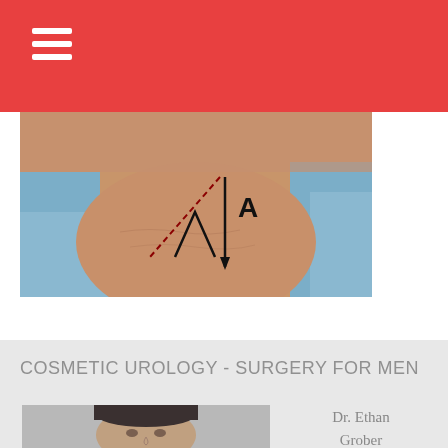[Figure (photo): Medical/surgical photo showing a person's neck with surgical markings drawn on the skin, with blue surgical draping visible. Lines and the letter 'A' are marked on the neck.]
COSMETIC UROLOGY - SURGERY FOR MEN
[Figure (photo): Portrait photo of Dr. Ethan Grober, a male physician with dark hair.]
Dr. Ethan Grober Male Sexual